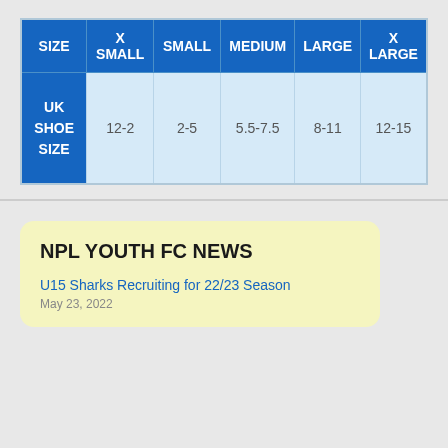| SIZE | X SMALL | SMALL | MEDIUM | LARGE | X LARGE |
| --- | --- | --- | --- | --- | --- |
| UK SHOE SIZE | 12-2 | 2-5 | 5.5-7.5 | 8-11 | 12-15 |
NPL YOUTH FC NEWS
U15 Sharks Recruiting for 22/23 Season
May 23, 2022